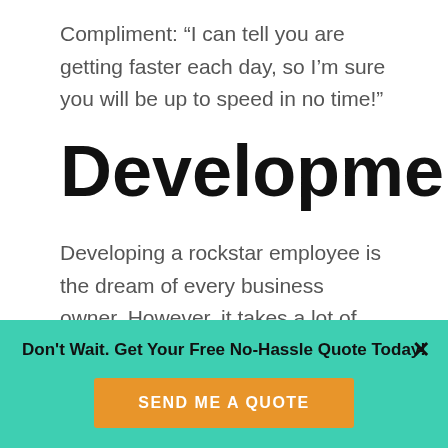Compliment: “I can tell you are getting faster each day, so I’m sure you will be up to speed in no time!”
Development
Developing a rockstar employee is the dream of every business owner. However, it takes a lot of time, dedication, and money to get them to a level that you consider them a valuable
Don't Wait. Get Your Free No-Hassle Quote Today!
SEND ME A QUOTE